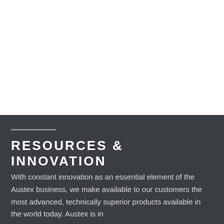RESOURCES & INNOVATION
With constant innovation as an essential element of the Austex business, we make available to our customers the most advanced, technically superior products available in the world today. Austex is in